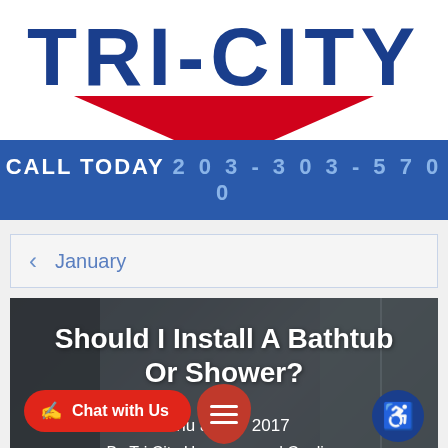TRI-CITY
CALL TODAY 203-303-5700
< January
[Figure (photo): Bathroom interior with glass shower, overlaid with article title 'Should I Install A Bathtub Or Shower?', dated January 2017, by Tri City Heating and Cooling]
Should I Install A Bathtub Or Shower?
January 2017
By Tri City Heating and Cooling